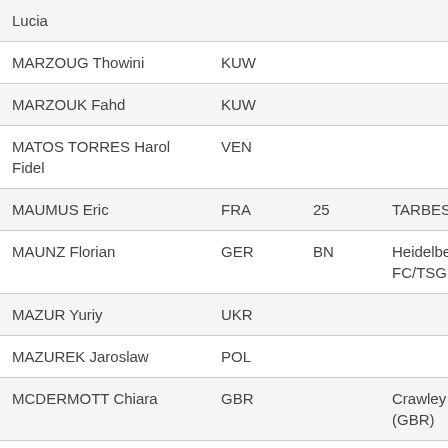| Name | Nationality | Number | Club |
| --- | --- | --- | --- |
| Lucia |  |  |  |
| MARZOUG Thowini | KUW |  |  |
| MARZOUK Fahd | KUW |  |  |
| MATOS TORRES Harol Fidel | VEN |  |  |
| MAUMUS Eric | FRA | 25 | TARBES ATE (FRA) |
| MAUNZ Florian | GER | BN | Heidelberger FC/TSG R. (GE |
| MAZUR Yuriy | UKR |  |  |
| MAZUREK Jaroslaw | POL |  |  |
| MCDERMOTT Chiara | GBR |  | Crawley Sword Club (GBR) |
| MCGUIRE Joshua | CAN |  |  |